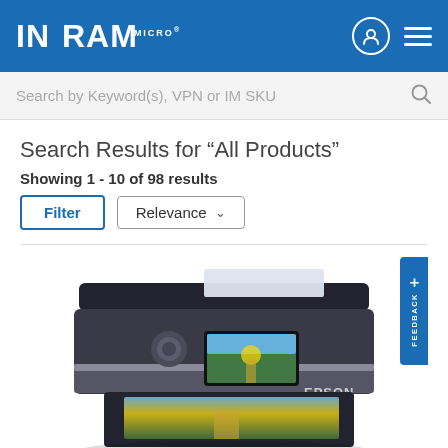[Figure (logo): Ingram Micro logo - white text on blue header background]
Search by Keyword(s), VPN or IM SKU
Search Results for “All Products”
Showing 1 - 10 of 98 results
Filter  Relevance
[Figure (photo): Epson multifunction printer/scanner shown from front angle, black color, with photo printing from tray]